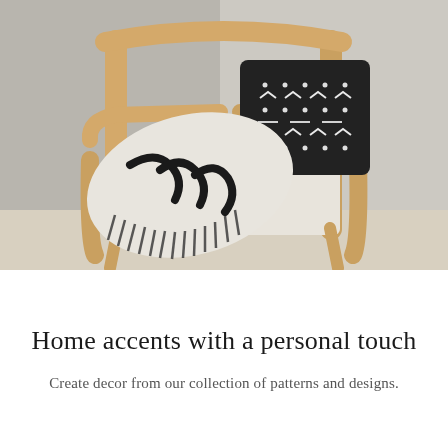[Figure (photo): A light wood armchair with cream upholstered seat. A black and white patterned throw blanket with fringe drapes over the left arm. A black decorative pillow with white geometric patterns (arrows, dots, lines) sits on the chair seat. Background is a light grey wall.]
Home accents with a personal touch
Create decor from our collection of patterns and designs.